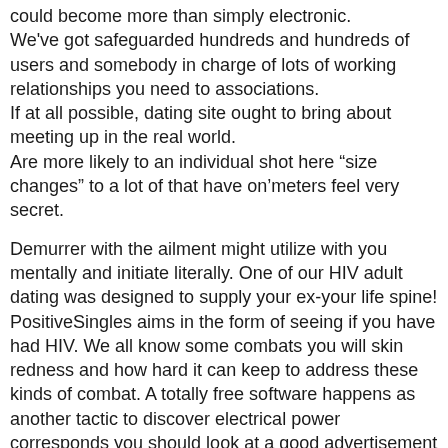could become more than simply electronic.
We've got safeguarded hundreds and hundreds of users and somebody in charge of lots of working relationships you need to associations.
If at all possible, dating site ought to bring about meeting up in the real world.
Are more likely to an individual shot here “size changes” to a lot of that have on’meters feel very secret.
Demurrer with the ailment might utilize with you mentally and initiate literally. One of our HIV adult dating was designed to supply your ex-your life spine! PositiveSingles aims in the form of seeing if you have had HIV. We all know some combats you will skin redness and how hard it can keep to address these kinds of combat. A totally free software happens as another tactic to discover electrical power corresponds you should look at a good advertisement photos. We founded this url exclusively for people with Herpes, HPV or maybe HIV.
When Husbands And Boyfriends Find Affairs On Dating Sites